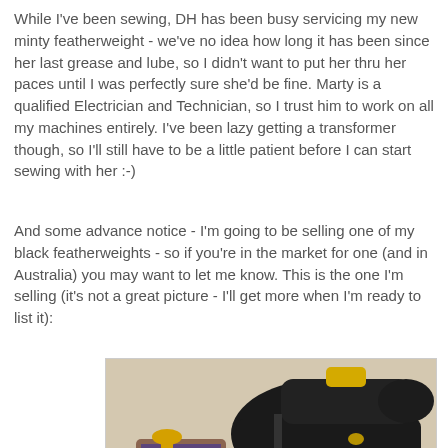While I've been sewing, DH has been busy servicing my new minty featherweight - we've no idea how long it has been since her last grease and lube, so I didn't want to put her thru her paces until I was perfectly sure she'd be fine. Marty is a qualified Electrician and Technician, so I trust him to work on all my machines entirely. I've been lazy getting a transformer though, so I'll still have to be a little patient before I can start sewing with her :-)
And some advance notice - I'm going to be selling one of my black featherweights - so if you're in the market for one (and in Australia) you may want to let me know. This is the one I'm selling (it's not a great picture - I'll get more when I'm ready to list it):
[Figure (photo): A black vintage Singer featherweight sewing machine on a colorful quilted surface, with sewing accessories including fabric bundles and small tins around it.]